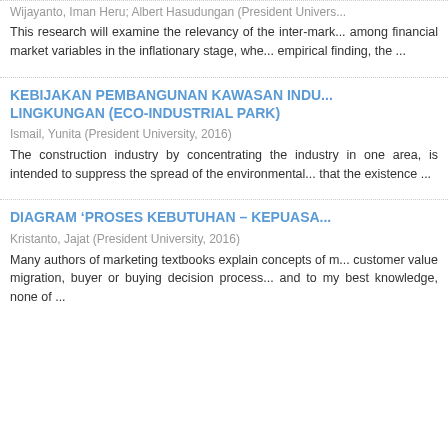Wijayanto, Iman Heru; Albert Hasudungan (President Univers...
This research will examine the relevancy of the inter-mark... among financial market variables in the inflationary stage, whe... empirical finding, the ...
KEBIJAKAN PEMBANGUNAN KAWASAN INDU... LINGKUNGAN (ECO-INDUSTRIAL PARK)
Ismail, Yunita (President University, 2016)
The construction industry by concentrating the industry in one area, is intended to suppress the spread of the environmental... that the existence ...
DIAGRAM ‘PROSES KEBUTUHAN – KEPUASA...
Kristanto, Jajat (President University, 2016)
Many authors of marketing textbooks explain concepts of m... customer value migration, buyer or buying decision process... and to my best knowledge, none of ...